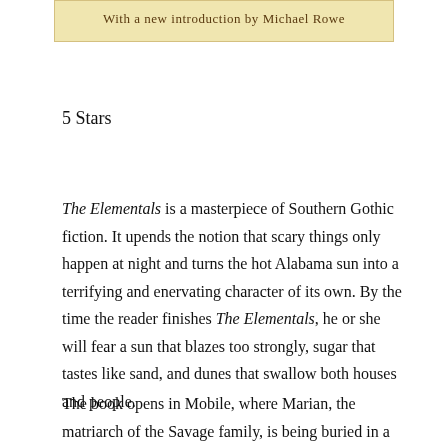[Figure (other): Book cover banner showing 'With a new introduction by Michael Rowe' on a warm yellow/tan background]
5 Stars
The Elementals is a masterpiece of Southern Gothic fiction. It upends the notion that scary things only happen at night and turns the hot Alabama sun into a terrifying and enervating character of its own. By the time the reader finishes The Elementals, he or she will fear a sun that blazes too strongly, sugar that tastes like sand, and dunes that swallow both houses and people.
The book opens in Mobile, where Marian, the matriarch of the Savage family, is being buried in a gruesome